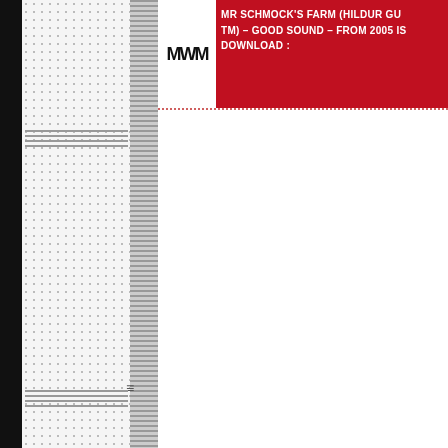MR SCHMOCK'S FARM (HILDUR GUDNADOTTIR, SCHNEIDER TM) – GOOD SOUND – FROM 2005 IS AVAILABLE FOR DOWNLOAD :
CD available at: Oral Records
Hildur & Schneider met in 2004 in Berlin's partyzone and found out they were neighbours. Soon the idea came up to do some music together. One fine day Hildur came over and brought her cello. Before they even started talking or drinking coffee, the track was recorded. After that they met occasionally to play some game of bowls in the backyard. A couple of weeks later the second track inspired by a common love of Sun Ra was recorded just like the first one…but this time she also brought her zither, accordion. No ideas, no direction: just Hildur playing over and over the acoustic instruments and Schneider at his mixing-desk. A couple of weeks later Hildur moved back to Iceland to finish her studies. Schneider visited some jail to work on German gangster-rap with some prisoners. They met again to join Angel for their drone-set in October 2004 at Club Transmediale, the times when all the times are black. Then, one afternoon, the Schmucks appeared at Schneider's studio and...
No Comments »